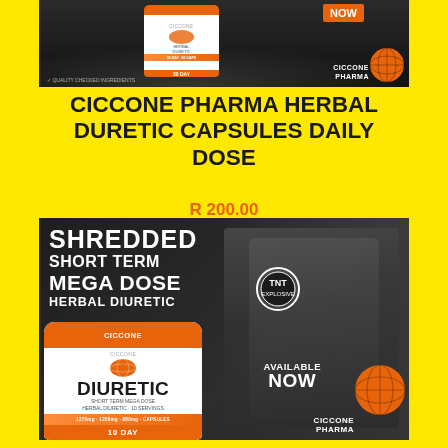[Figure (photo): Top product image showing Ciccone Pharma supplement tub on dark background with orange accent and globe logo, with 'NOW' badge]
CICCONE PHARMA HERBAL DURETIC CAPSULES DAILY DOSE
R 200.00
[Figure (photo): Bottom promotional image showing muscular bodybuilder in black and white with text overlay reading SHREDDED SHORT TERM MEGA DOSE HERBAL DIURETIC, and product tub labeled DIURETIC 10 DAY with orange branding, AVAILABLE NOW badge, and Ciccone Pharma globe logo]